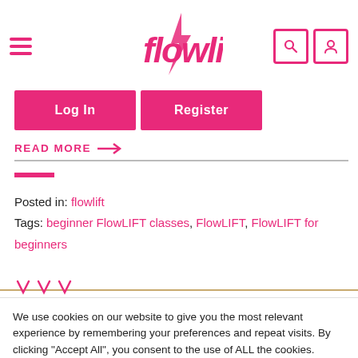FlowLIFT navigation header with hamburger menu, logo, search and user icons
Log In  Register
READ MORE →
Posted in: flowlift
Tags: beginner FlowLIFT classes, FlowLIFT, FlowLIFT for beginners
We use cookies on our website to give you the most relevant experience by remembering your preferences and repeat visits. By clicking “Accept All”, you consent to the use of ALL the cookies. However, you may visit "Cookie Settings" to provide a controlled consent.
Cookie Settings  Accept All